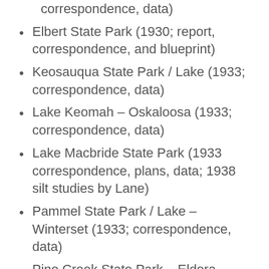correspondence, data)
Elbert State Park (1930; report, correspondence, and blueprint)
Keosauqua State Park / Lake (1933; correspondence, data)
Lake Keomah – Oskaloosa (1933; correspondence, data)
Lake Macbride State Park (1933 correspondence, plans, data; 1938 silt studies by Lane)
Pammel State Park / Lake – Winterset (1933; correspondence, data)
Pine Creek State Park – Eldora (1933; blueprints, correspondence,